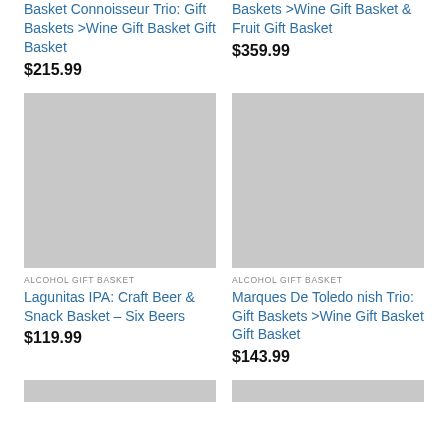Basket Connoisseur Trio: Gift Baskets >Wine Gift Basket Gift Basket
$215.99
Baskets >Wine Gift Basket & Fruit Gift Basket
$359.99
[Figure (photo): Grey placeholder image for product]
ALCOHOL GIFT BASKET
Lagunitas IPA: Craft Beer & Snack Basket – Six Beers
$119.99
[Figure (photo): Grey placeholder image for product]
ALCOHOL GIFT BASKET
Marques De Toledo nish Trio: Gift Baskets >Wine Gift Basket Gift Basket
$143.99
[Figure (photo): Grey placeholder image at bottom left]
[Figure (photo): Grey placeholder image at bottom right]